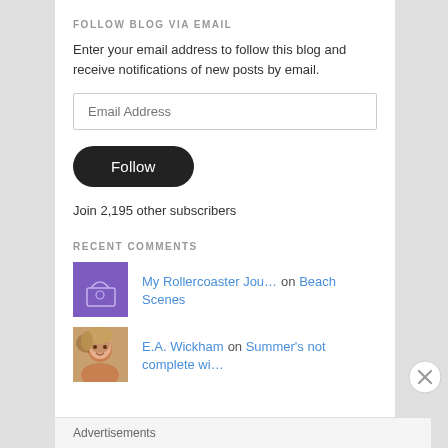FOLLOW BLOG VIA EMAIL
Enter your email address to follow this blog and receive notifications of new posts by email.
Email Address
Follow
Join 2,195 other subscribers
RECENT COMMENTS
My Rollercoaster Jou… on Beach Scenes
E.A. Wickham on Summer's not complete wi…
Advertisements